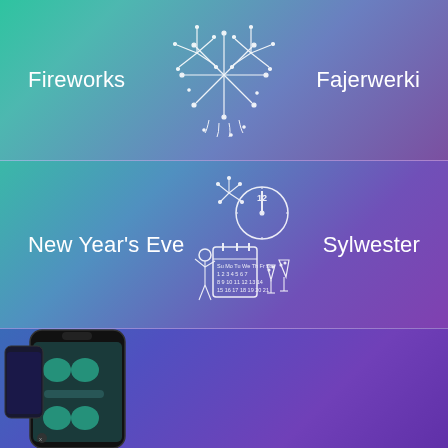Fireworks
[Figure (illustration): White line-art fireworks illustration on gradient teal-to-purple background]
Fajerwerki
New Year's Eve
[Figure (illustration): White line-art New Year's Eve scene with clock, fireworks, calendar, and champagne glasses]
Sylwester
[Figure (screenshot): Smartphone showing the Drops visual dictionary app interface with illustrated vocabulary items on a dark/teal background]
Enjoying the Visual Dictionary? You'll love the full Drops experience!
[Figure (logo): Download on the App Store button with Apple logo]